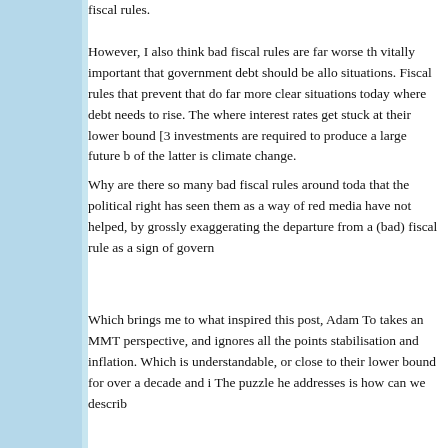fiscal rules.

However, I also think bad fiscal rules are far worse th... vitally important that government debt should be allo... situations. Fiscal rules that prevent that do far more... clear situations today where debt needs to rise. The... where interest rates get stuck at their lower bound [3... investments are required to produce a large future b... of the latter is climate change.
Why are there so many bad fiscal rules around toda... that the political right has seen them as a way of red... media have not helped, by grossly exaggerating the... departure from a (bad) fiscal rule as a sign of govern...
Which brings me to what inspired this post, Adam To... takes an MMT perspective, and ignores all the points... stabilisation and inflation. Which is understandable,... or close to their lower bound for over a decade and i... The puzzle he addresses is how can we describ...